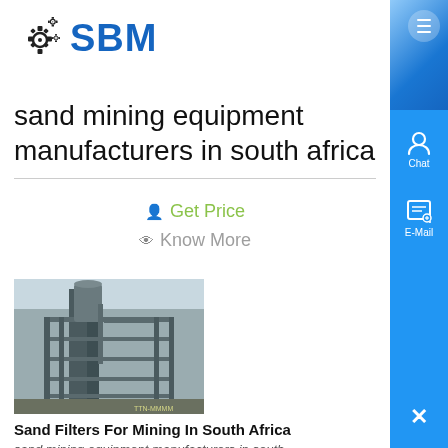SBM
sand mining equipment manufacturers in south africa
Get Price
Know More
[Figure (photo): Industrial sand filter or mining equipment tower structure]
Sand Filters For Mining In South Africa
sand mining equipment manufacturers in south